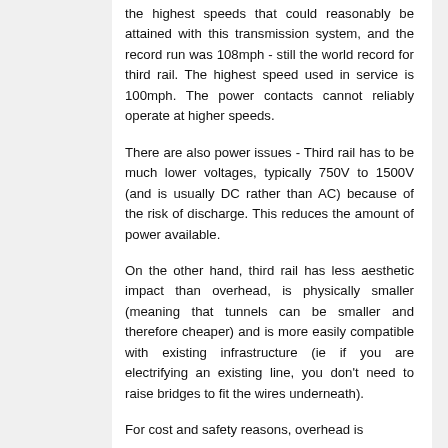the highest speeds that could reasonably be attained with this transmission system, and the record run was 108mph - still the world record for third rail. The highest speed used in service is 100mph. The power contacts cannot reliably operate at higher speeds.
There are also power issues - Third rail has to be much lower voltages, typically 750V to 1500V (and is usually DC rather than AC) because of the risk of discharge. This reduces the amount of power available.
On the other hand, third rail has less aesthetic impact than overhead, is physically smaller (meaning that tunnels can be smaller and therefore cheaper) and is more easily compatible with existing infrastructure (ie if you are electrifying an existing line, you don't need to raise bridges to fit the wires underneath).
For cost and safety reasons, overhead is